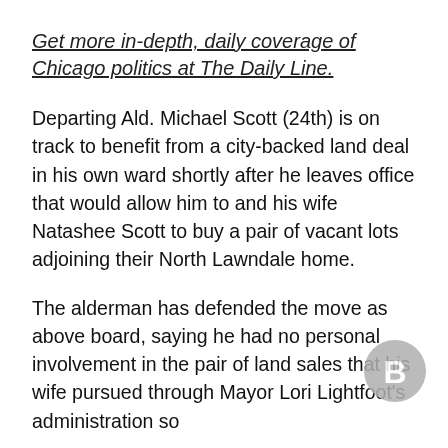Get more in-depth, daily coverage of Chicago politics at The Daily Line.
Departing Ald. Michael Scott (24th) is on track to benefit from a city-backed land deal in his own ward shortly after he leaves office that would allow him to and his wife Natashee Scott to buy a pair of vacant lots adjoining their North Lawndale home.
The alderman has defended the move as above board, saying he had no personal involvement in the pair of land sales that his wife pursued through Mayor Lori Lightfoot's administration so